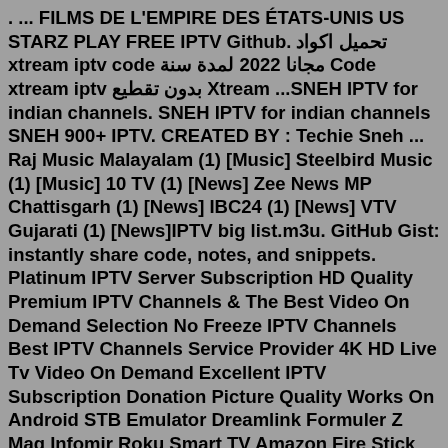. ... FILMS DE L'EMPIRE DES ÉTATS-UNIS US STARZ PLAY FREE IPTV Github. تحميل اكواد xtream iptv code مجانا 2022 لمدة سنة Code xtream iptv بدون تقطيع Xtream ...SNEH IPTV for indian channels. SNEH IPTV for indian channels SNEH 900+ IPTV. CREATED BY : Techie Sneh ... Raj Music Malayalam (1) [Music] Steelbird Music (1) [Music] 10 TV (1) [News] Zee News MP Chattisgarh (1) [News] IBC24 (1) [News] VTV Gujarati (1) [News]IPTV big list.m3u. GitHub Gist: instantly share code, notes, and snippets. Platinum IPTV Server Subscription HD Quality Premium IPTV Channels & The Best Video On Demand Selection No Freeze IPTV Channels Best IPTV Channels Service Provider 4K HD Live Tv Video On Demand Excellent IPTV Subscription Donation Picture Quality Works On Android STB Emulator Dreamlink Formuler Z Mag Infomir Roku Smart TV Amazon Fire Stick Buzz Tv Apple iOS Stalker TV Kodi IPTV Free Trial ...Step 2: Click on the " Open network stream ". Step 3: Enter the Free M3U URL and press " Play ". Ste